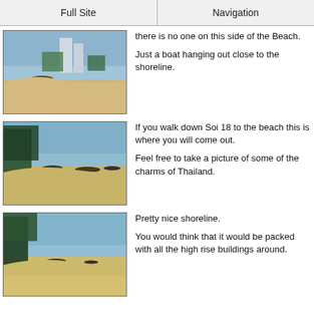Full Site | Navigation
[Figure (photo): Beach scene with a boat near the shoreline and tall buildings in the background]
there is no one on this side of the Beach.

Just a boat hanging out close to the shoreline.
[Figure (photo): Beach with several boats moored near the shore, trees on the left, calm water]
If you walk down Soi 18 to the beach this is where you will come out.

Feel free to take a picture of some of the charms of Thailand.
[Figure (photo): Sandy beach with boats and trees, calm shoreline]
Pretty nice shoreline.

You would think that it would be packed with all the high rise buildings around.